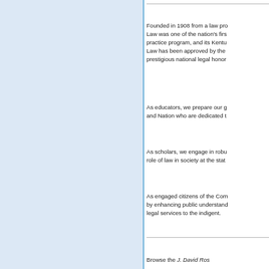[Figure (other): Light blue rectangular panel on the left side of the page]
Founded in 1908 from a law pro Law was one of the nation's firs practice program, and its Kentu Law has been approved by the prestigious national legal honor
As educators, we prepare our g and Nation who are dedicated t
As scholars, we engage in robu role of law in society at the stat
As engaged citizens of the Com by enhancing public understand legal services to the indigent.
Browse the J. David Ros